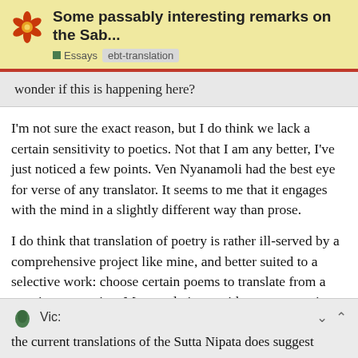Some passably interesting remarks on the Sab...
wonder if this is happening here?
I'm not sure the exact reason, but I do think we lack a certain sensitivity to poetics. Not that I am any better, I've just noticed a few points. Ven Nyanamoli had the best eye for verse of any translator. It seems to me that it engages with the mind in a slightly different way than prose.
I do think that translation of poetry is rather ill-served by a comprehensive project like mine, and better suited to a selective work: choose certain poems to translate from a certain perspective. My translations, with some exceptions, are pretty utilitarian.
Vic:
the current translations of the Sutta Nipata does suggest